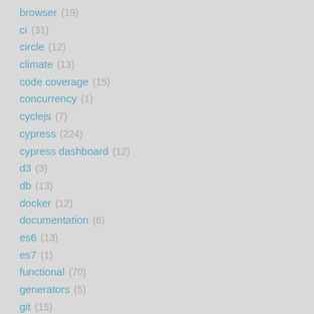browser (19)
ci (31)
circle (12)
climate (13)
code coverage (15)
concurrency (1)
cyclejs (7)
cypress (224)
cypress dashboard (12)
d3 (3)
db (13)
docker (12)
documentation (6)
es6 (13)
es7 (1)
functional (70)
generators (5)
git (15)
github (25)
graphql (5)
grunt (7)
gulp (3)